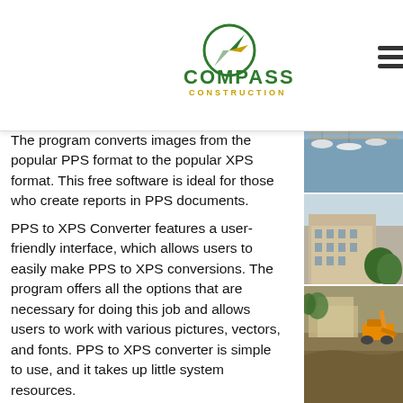[Figure (logo): Compass Construction logo with green compass icon and green 'COMPASS' text with gold 'CONSTRUCTION' subtext, plus hamburger menu icon]
The program converts images from the popular PPS format to the popular XPS format. This free software is ideal for those who create reports in PPS documents.
PPS to XPS Converter features a user-friendly interface, which allows users to easily make PPS to XPS conversions. The program offers all the options that are necessary for doing this job and allows users to work with various pictures, vectors, and fonts. PPS to XPS converter is simple to use, and it takes up little system resources.
PPS to XPS Converter offers users all the necessary features in order to do the job quickly. It is a completely free program that is not asking for any further details or...
PPS to XPS converter is a free utility that enables users to convert popular PPS format
[Figure (photo): Right-side vertical photo strip showing construction and landscape scenes: aerial view of forested waterfront with bridge, marina with boats, urban building, and construction site with excavator]